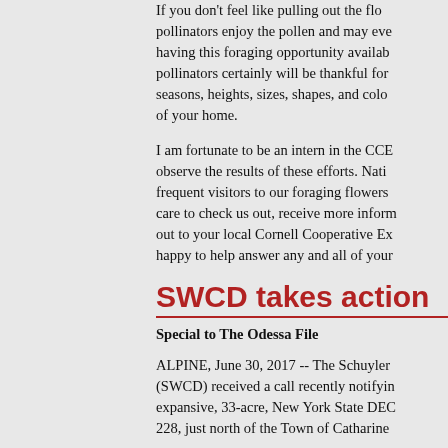If you don't feel like pulling out the flow… pollinators enjoy the pollen and may eve… having this foraging opportunity availab… pollinators certainly will be thankful for… seasons, heights, sizes, shapes, and colo… of your home.
I am fortunate to be an intern in the CCE… observe the results of these efforts. Nati… frequent visitors to our foraging flowers… care to check us out, receive more inform… out to your local Cornell Cooperative Ex… happy to help answer any and all of your…
SWCD takes action
Special to The Odessa File
ALPINE, June 30, 2017 -- The Schuyler… (SWCD) received a call recently notifyin… expansive, 33-acre, New York State DEC… 228, just north of the Town of Catharine…
If left uncorrected, the